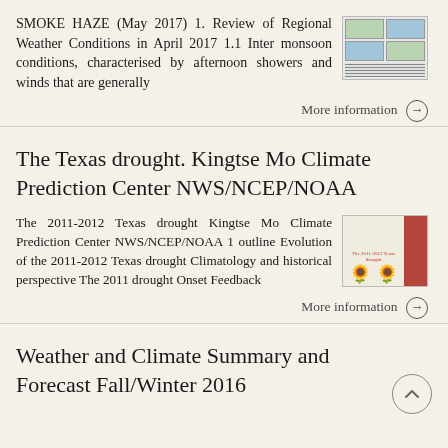SMOKE HAZE (May 2017) 1. Review of Regional Weather Conditions in April 2017 1.1 Inter monsoon conditions, characterised by afternoon showers and winds that are generally
More information →
The Texas drought. Kingtse Mo Climate Prediction Center NWS/NCEP/NOAA
The 2011-2012 Texas drought Kingtse Mo Climate Prediction Center NWS/NCEP/NOAA 1 outline Evolution of the 2011-2012 Texas drought Climatology and historical perspective The 2011 drought Onset Feedback
More information →
Weather and Climate Summary and Forecast Fall/Winter 2016